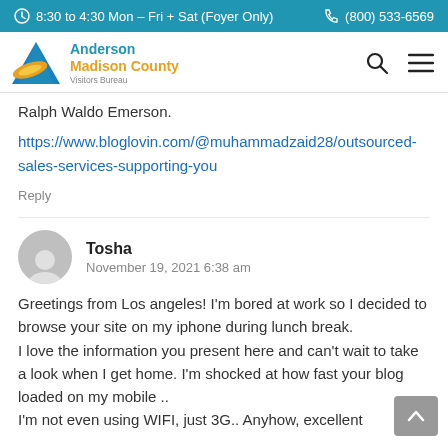8:30 to 4:30 Mon – Fri + Sat (Foyer Only)   (800) 533-6569
[Figure (logo): Anderson Madison County Visitors Bureau logo with blue diamond and yellow wave shape]
Ralph Waldo Emerson.
https://www.bloglovin.com/@muhammadzaid28/outsourced-sales-services-supporting-you
Reply
Tosha
November 19, 2021 6:38 am
Greetings from Los angeles! I'm bored at work so I decided to browse your site on my iphone during lunch break.
I love the information you present here and can't wait to take a look when I get home. I'm shocked at how fast your blog loaded on my mobile ..
I'm not even using WIFI, just 3G.. Anyhow, excellent